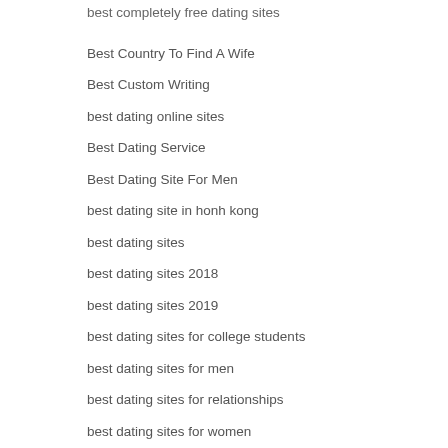best completely free dating sites
Best Country To Find A Wife
Best Custom Writing
best dating online sites
Best Dating Service
Best Dating Site For Men
best dating site in honh kong
best dating sites
best dating sites 2018
best dating sites 2019
best dating sites for college students
best dating sites for men
best dating sites for relationships
best dating sites for women
best dating sites in us
best dating sites in usa